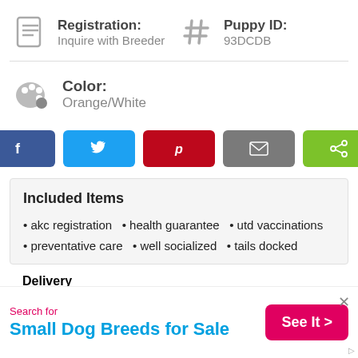Registration: Inquire with Breeder
Puppy ID: 93DCDB
Color: Orange/White
[Figure (infographic): Social share buttons: Facebook, Twitter, Pinterest, Email, Share]
Included Items
akc registration
health guarantee
utd vaccinations
preventative care
well socialized
tails docked
Delivery
Search for
Small Dog Breeds for Sale